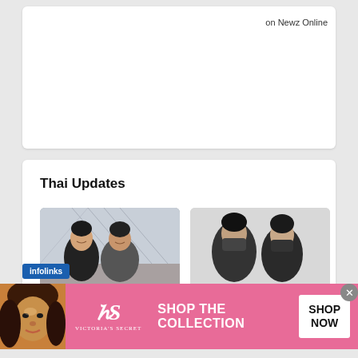on Newz Online
Thai Updates
[Figure (photo): Two young men smiling together in a room]
[Figure (photo): Two people wearing face masks]
infolinks
[Figure (other): Victoria's Secret advertisement banner: SHOP THE COLLECTION with SHOP NOW button]